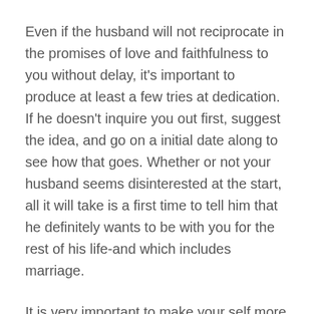Even if the husband will not reciprocate in the promises of love and faithfulness to you without delay, it's important to produce at least a few tries at dedication. If he doesn't inquire you out first, suggest the idea, and go on a initial date along to see how that goes. Whether or not your husband seems disinterested at the start, all it will take is a first time to tell him that he definitely wants to be with you for the rest of his life-and which includes marriage.
It is very important to make your self more suitable to your hubby in the first place. Women looking for marriage should take the time to check her ideal before hitting the internet and signing up for online dating services. It's no secret that women usually